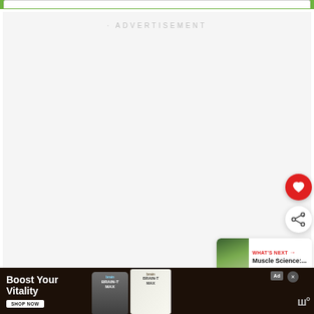[Figure (screenshot): Website screenshot showing a green navigation bar at top, an advertisement placeholder area with 'ADVERTISEMENT' text, a red heart/favorite button, a share button, a 'WHAT'S NEXT' content recommendation widget showing 'Muscle Science:...' with a thumbnail, and a bottom banner ad for 'Boost Your Vitality' featuring Brain-T Max supplement products with a 'SHOP NOW' button.]